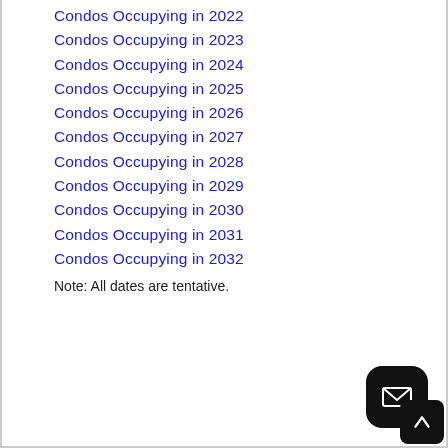Condos Occupying in 2022
Condos Occupying in 2023
Condos Occupying in 2024
Condos Occupying in 2025
Condos Occupying in 2026
Condos Occupying in 2027
Condos Occupying in 2028
Condos Occupying in 2029
Condos Occupying in 2030
Condos Occupying in 2031
Condos Occupying in 2032
Note: All dates are tentative.